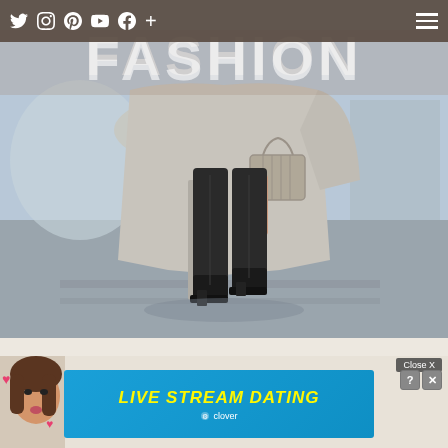Social icons (Twitter, Instagram, Pinterest, YouTube, Facebook, +) and hamburger menu
[Figure (photo): Fashion blog hero image: woman's lower body wearing a grey wool coat carrying a grey handbag, wearing black over-the-knee suede boots, walking on a street. 'FASHION' text overlaid in large white letters.]
[Figure (photo): Advertisement banner: woman's face blowing kiss with heart emojis, and a blue 'LIVE STREAM DATING' ad by Clover app with Close X button.]